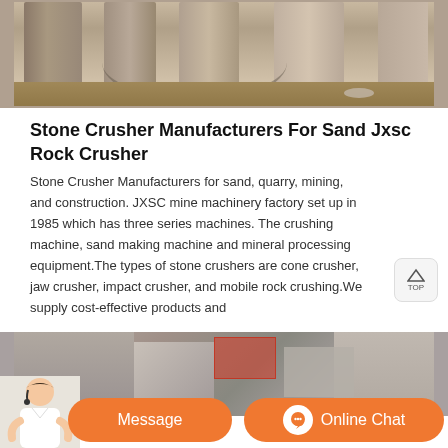[Figure (photo): Stone crusher machinery site showing large cylindrical stone or concrete columns/pillars in a quarry or construction setting, with sandy/earthen ground]
Stone Crusher Manufacturers For Sand Jxsc Rock Crusher
Stone Crusher Manufacturers for sand, quarry, mining, and construction. JXSC mine machinery factory set up in 1985 which has three series machines. The crushing machine, sand making machine and mineral processing equipment.The types of stone crushers are cone crusher, jaw crusher, impact crusher, and mobile rock crushing.We supply cost-effective products and
[Figure (photo): Stone crusher machinery and equipment at a quarry or mining site, partially visible at bottom of page]
Message
Online Chat